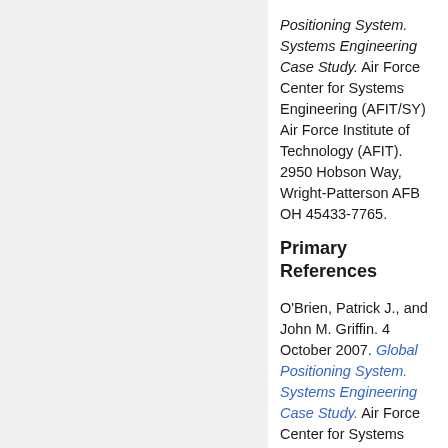Positioning System. Systems Engineering Case Study. Air Force Center for Systems Engineering (AFIT/SY) Air Force Institute of Technology (AFIT). 2950 Hobson Way, Wright-Patterson AFB OH 45433-7765.
Primary References
O'Brien, Patrick J., and John M. Griffin. 4 October 2007. Global Positioning System. Systems Engineering Case Study. Air Force Center for Systems